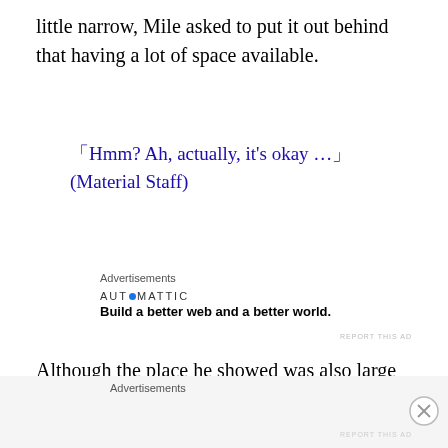little narrow, Mile asked to put it out behind that having a lot of space available.
「Hmm? Ah, actually, it’s okay …」(Material Staff)
Although the place he showed was also large enough, he felt a little doubt about a loli (minor girl) who wanted a different place. But there should be a reason why this
Advertisements
Advertisements